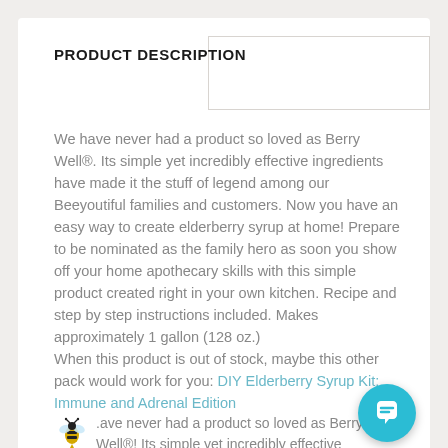PRODUCT DESCRIPTION
We have never had a product so loved as Berry Well®. Its simple yet incredibly effective ingredients have made it the stuff of legend among our Beeyoutiful families and customers. Now you have an easy way to create elderberry syrup at home! Prepare to be nominated as the family hero as soon you show off your home apothecary skills with this simple product created right in your own kitchen. Recipe and step by step instructions included. Makes approximately 1 gallon (128 oz.)
When this product is out of stock, maybe this other pack would work for you: DIY Elderberry Syrup Kit: Immune and Adrenal Edition
.ave never had a product so loved as Berry Well®! Its simple yet incredibly effective ingredients have made it the stuff of legend among our